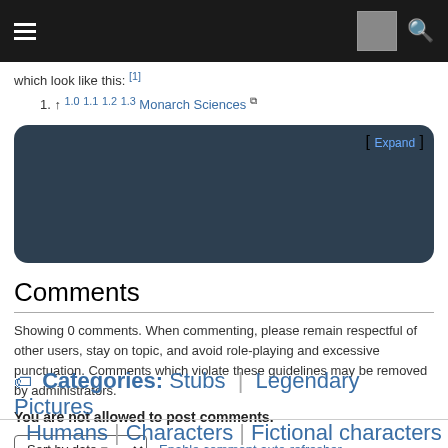which look like this: [1]
1. ↑ 1.0 1.1 1.2 1.3 Monarch Sciences
[Figure (other): Dark rounded box with [Expand] link]
Comments
Showing 0 comments. When commenting, please remain respectful of other users, stay on topic, and avoid role-playing and excessive punctuation. Comments which violate these guidelines may be removed by administrators.
You are not allowed to post comments.
Sort by date  Enable comment auto-refresher
Categories: Stubs | Legendary Pictures
Humans | Characters | Fictional characters